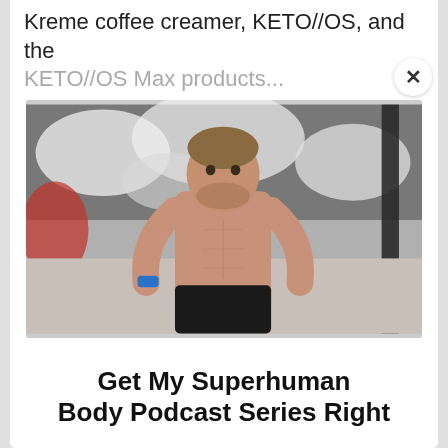Kreme coffee creamer, KETO//OS, and the KETO//OS Max products...
[Figure (photo): Shirtless athletic man with beard standing in a gym, wearing dark shorts and a blue fitness tracker, with a snowy/dramatic backdrop behind him.]
Get My Superhuman Body Podcast Series Right